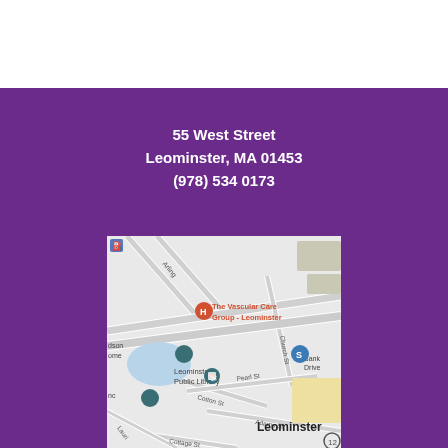55 West Street
Leominster, MA 01453
(978) 534 0173
[Figure (map): Google Maps screenshot showing the location of The Vascular Care Group - Leominster near Leominster Public Library, with street names including Arlington, Church St, Cotton St, Pearl St, Adams St, Cottage St.]